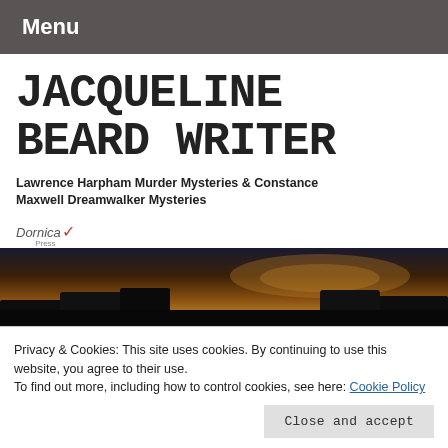Menu
JACQUELINE BEARD WRITER
Lawrence Harpham Murder Mysteries & Constance Maxwell Dreamwalker Mysteries
[Figure (logo): Dornica Press publisher logo with feather icon]
[Figure (photo): Dark atmospheric hero image with trees and dramatic sky]
Privacy & Cookies: This site uses cookies. By continuing to use this website, you agree to their use.
To find out more, including how to control cookies, see here: Cookie Policy
Close and accept